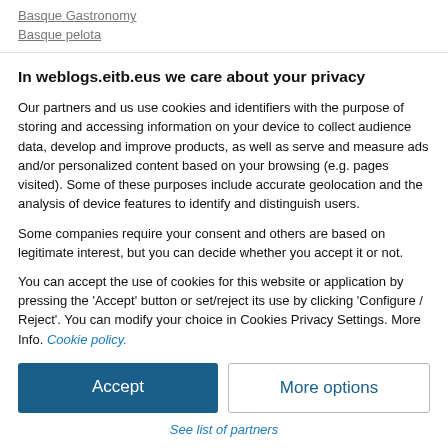Basque Gastronomy
Basque pelota
In weblogs.eitb.eus we care about your privacy
Our partners and us use cookies and identifiers with the purpose of storing and accessing information on your device to collect audience data, develop and improve products, as well as serve and measure ads and/or personalized content based on your browsing (e.g. pages visited). Some of these purposes include accurate geolocation and the analysis of device features to identify and distinguish users.
Some companies require your consent and others are based on legitimate interest, but you can decide whether you accept it or not.
You can accept the use of cookies for this website or application by pressing the 'Accept' button or set/reject its use by clicking 'Configure / Reject'. You can modify your choice in Cookies Privacy Settings. More Info. Cookie policy.
Accept
More options
See list of partners
Sibb° ver 125.38